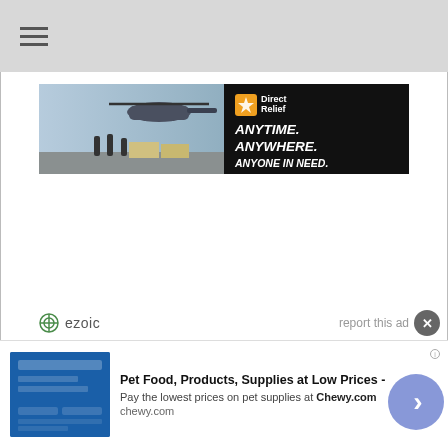[Figure (screenshot): Navigation bar with hamburger menu icon (three horizontal lines) on grey background]
[Figure (illustration): Direct Relief advertisement banner showing military personnel loading supplies near helicopter on left side, and black panel on right with orange/yellow logo, text: ANYTIME. ANYWHERE. ANYONE IN NEED.]
[Figure (logo): Ezoic logo with circular icon and text 'ezoic' in grey, alongside 'report this ad' text]
[Figure (screenshot): Bottom ad banner for Chewy.com: Pet Food, Products, Supplies at Low Prices - Pay the lowest prices on pet supplies at Chewy.com, chewy.com. Shows blue product image thumbnail, close X button, and blue circular arrow navigation button.]